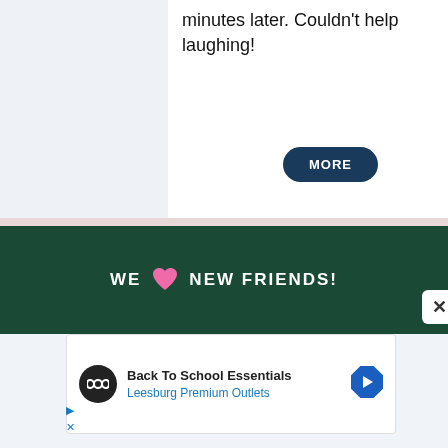minutes later. Couldn't help laughing!
MORE
WE ❤ NEW FRIENDS!
[Figure (screenshot): Advertisement for Back To School Essentials at Leesburg Premium Outlets with logo icon and directional arrow]
Back To School Essentials
Leesburg Premium Outlets